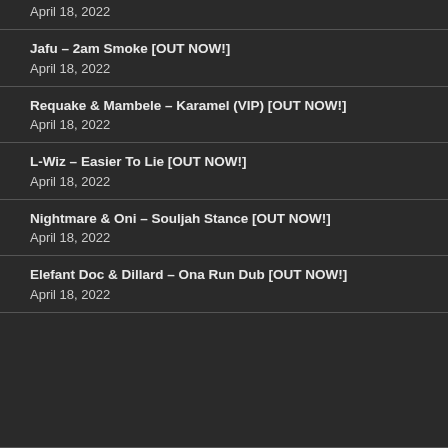April 18, 2022
Jafu – 2am Smoke [OUT NOW!]
April 18, 2022
Requake & Mambele – Karamel (VIP) [OUT NOW!]
April 18, 2022
L-Wiz – Easier To Lie [OUT NOW!]
April 18, 2022
Nightmare & Oni – Souljah Stance [OUT NOW!]
April 18, 2022
Elefant Doc & Dillard – Ona Run Dub [OUT NOW!]
April 18, 2022